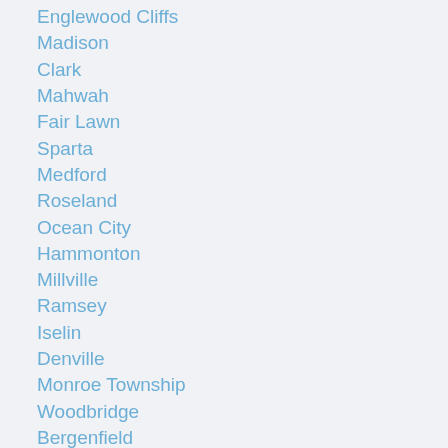Englewood Cliffs
Madison
Clark
Mahwah
Fair Lawn
Sparta
Medford
Roseland
Ocean City
Hammonton
Millville
Ramsey
Iselin
Denville
Monroe Township
Woodbridge
Bergenfield
Lakewood
Trenton
Morristown
Toms River
New Brunswick